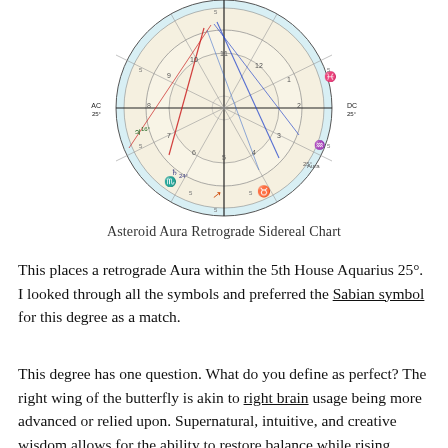[Figure (other): Asteroid Aura Retrograde Sidereal astrological chart — a circular natal chart wheel with zodiac signs, house divisions, planetary glyphs, and aspect lines (red, blue) drawn across the center. Labels include AC 25, DC 25, and various planetary symbols and degree markers.]
Asteroid Aura Retrograde Sidereal Chart
This places a retrograde Aura within the 5th House Aquarius 25°. I looked through all the symbols and preferred the Sabian symbol for this degree as a match.
This degree has one question. What do you define as perfect? The right wing of the butterfly is akin to right brain usage being more advanced or relied upon. Supernatural, intuitive, and creative wisdom allows for the ability to restore balance while rising